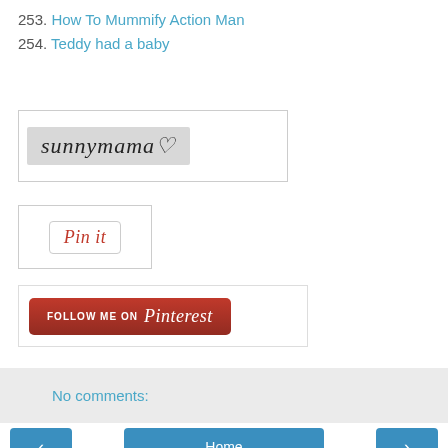253. How To Mummify Action Man
254. Teddy had a baby
[Figure (logo): sunnymama logo with heart symbol in grey box]
[Figure (logo): Pin it Pinterest button]
[Figure (logo): Follow me on Pinterest red button]
No comments:
Home
View web version
Powered by Blogger.